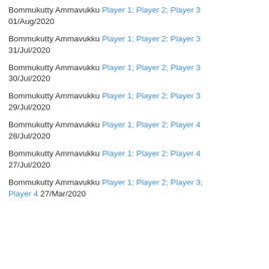Bommukutty Ammavukku Player 1; Player 2; Player 3 01/Aug/2020
Bommukutty Ammavukku Player 1; Player 2; Player 3 31/Jul/2020
Bommukutty Ammavukku Player 1; Player 2; Player 3 30/Jul/2020
Bommukutty Ammavukku Player 1; Player 2; Player 3 29/Jul/2020
Bommukutty Ammavukku Player 1; Player 2; Player 4 28/Jul/2020
Bommukutty Ammavukku Player 1; Player 2; Player 4 27/Jul/2020
Bommukutty Ammavukku Player 1; Player 2; Player 3; Player 4 27/Mar/2020